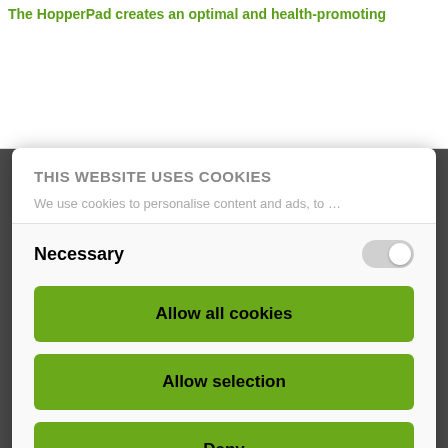The HopperPad creates an optimal and health-promoting
[Figure (photo): White background area representing a product image section]
THIS WEBSITE USES COOKIES
We use cookies to personalise content and ads, to
Necessary
Allow all cookies
Allow selection
Deny
Powered by Cookiebot by Usercentrics